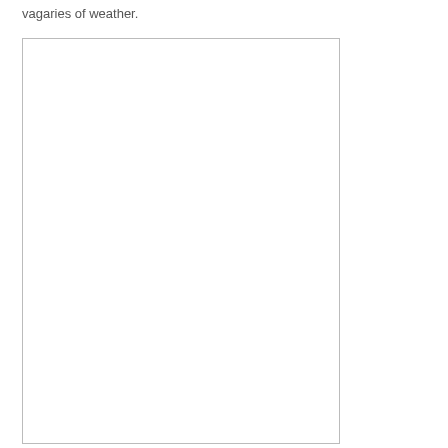vagaries of weather.
[Figure (photo): A large blank/white rectangular figure placeholder with a thin border, occupying most of the left portion of the page below the text.]